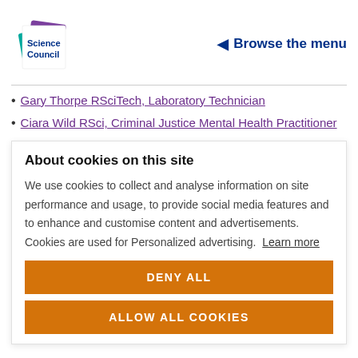[Figure (logo): Science Council logo with teal and purple overlapping squares and bold text 'Science Council']
◀ Browse the menu
Gary Thorpe RSciTech, Laboratory Technician
Ciara Wild RSci, Criminal Justice Mental Health Practitioner
About cookies on this site
We use cookies to collect and analyse information on site performance and usage, to provide social media features and to enhance and customise content and advertisements. Cookies are used for Personalized advertising. Learn more
DENY ALL
ALLOW ALL COOKIES